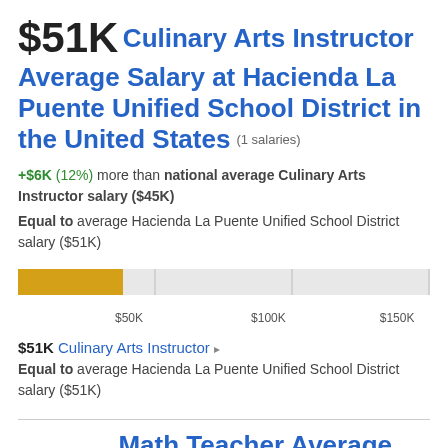$51K Culinary Arts Instructor Average Salary at Hacienda La Puente Unified School District in the United States (1 salaries)
+$6K (12%) more than national average Culinary Arts Instructor salary ($45K)
Equal to average Hacienda La Puente Unified School District salary ($51K)
[Figure (bar-chart): Salary bar chart]
$51K Culinary Arts Instructor Equal to average Hacienda La Puente Unified School District salary ($51K)
$51K Math Teacher Average Salary